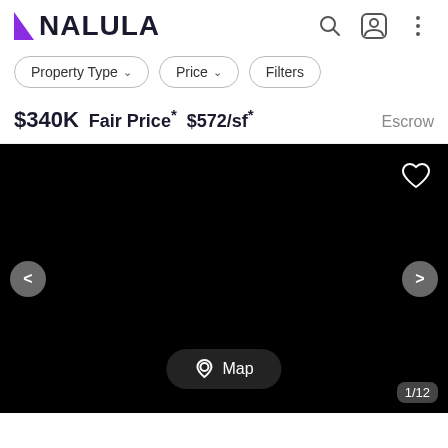NALULA
Property Type
Price
Filters
$340K  Fair Price*  $572/sf*  Escrow
[Figure (screenshot): Black image area with navigation arrows (< >), a heart/favorite icon in the top right, a Map button at the bottom center, and a 1/12 page counter in the bottom right corner.]